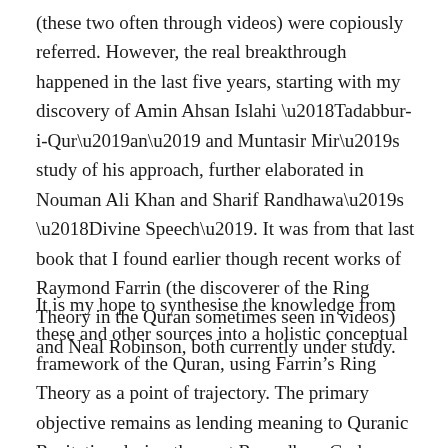(these two often through videos) were copiously referred. However, the real breakthrough happened in the last five years, starting with my discovery of Amin Ahsan Islahi ‘Tadabbur-i-Qur’an’ and Muntasir Mir’s study of his approach, further elaborated in Nouman Ali Khan and Sharif Randhawa’s ‘Divine Speech’. It was from that last book that I found earlier though recent works of Raymond Farrin (the discoverer of the Ring Theory in the Quran sometimes seen in videos) and Neal Robinson, both currently under study.
It is my hope to synthesise the knowledge from these and other sources into a holistic conceptual framework of the Quran, using Farrin’s Ring Theory as a point of trajectory. The primary objective remains as lending meaning to Quranic Recitation during the next Ramadhan. God willing. Gestalt and Visual